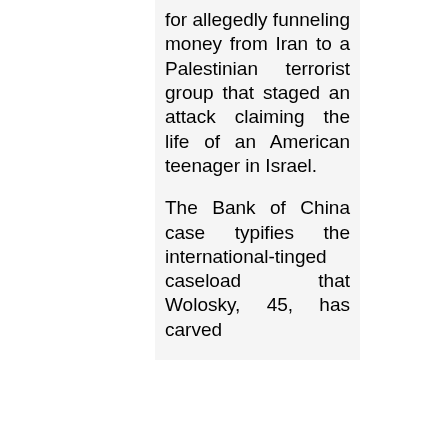for allegedly funneling money from Iran to a Palestinian terrorist group that staged an attack claiming the life of an American teenager in Israel.
The Bank of China case typifies the international-tinged caseload that Wolosky, 45, has carved